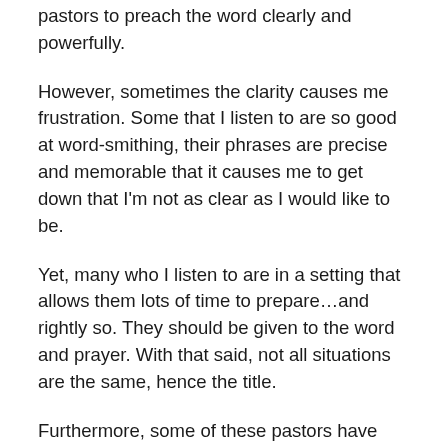pastors to preach the word clearly and powerfully.
However, sometimes the clarity causes me frustration. Some that I listen to are so good at word-smithing, their phrases are precise and memorable that it causes me to get down that I'm not as clear as I would like to be.
Yet, many who I listen to are in a setting that allows them lots of time to prepare…and rightly so. They should be given to the word and prayer. With that said, not all situations are the same, hence the title.
Furthermore, some of these pastors have researchers and assistants to aid them in their preparation. And it is this group that I probably listen to most.
I have to remind myself that this is not my situation and that God can use the sermon prepared as he so chooses.